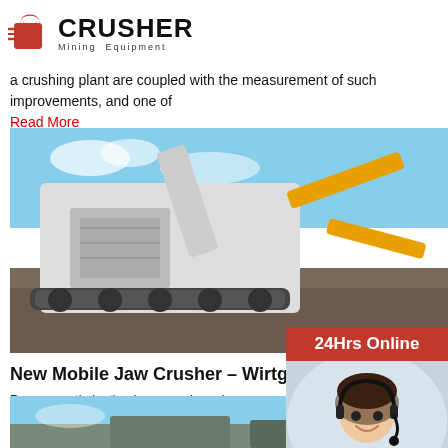[Figure (logo): Crusher Mining Equipment logo with red shopping bag icon and bold black text]
a crushing plant are coupled with the measurement of such improvements, and one of
Read More
[Figure (photo): Mobile jaw crusher machine (MOBICAT) on a construction/mining site with excavator in background]
New Mobile Jaw Crusher – Wirtge
Process optimization in every phase increases u productivity In the new MOBICAT MC 110(i) EV Kleemann has integrated a series of new techno improvements. The CFS - Continuous Feed Syst guarantees continuous crusher utilization for da up to 10% higher.
Read More
[Figure (photo): Partial view of another crusher/mining equipment article image at bottom]
[Figure (infographic): 24Hrs Online sidebar with customer service representative photo, chat bubble, Need & suggestions text, Chat Now button, Enquiry button, and email limingjlmofen@sina.com]